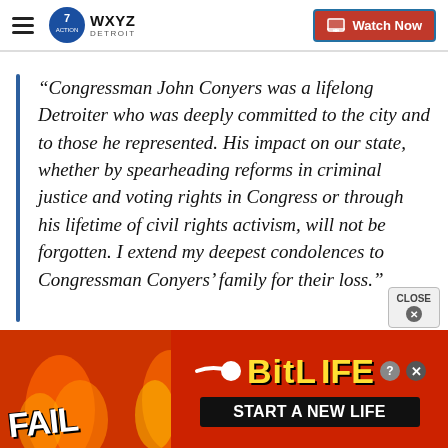WXYZ Detroit — Watch Now
“Congressman John Conyers was a lifelong Detroiter who was deeply committed to the city and to those he represented. His impact on our state, whether by spearheading reforms in criminal justice and voting rights in Congress or through his lifetime of civil rights activism, will not be forgotten. I extend my deepest condolences to Congressman Conyers’ family for their loss.”
[Figure (screenshot): Advertisement banner for BitLife mobile game — shows 'FAIL' text, cartoon character, fire emoji graphic, sperm icon, 'BitLife' logo in yellow, and 'START A NEW LIFE' call to action on dark background]